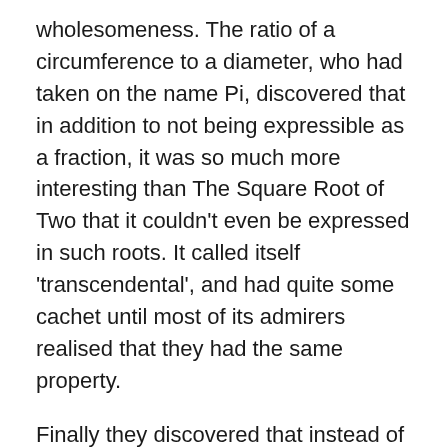wholesomeness. The ratio of a circumference to a diameter, who had taken on the name Pi, discovered that in addition to not being expressible as a fraction, it was so much more interesting than The Square Root of Two that it couldn't even be expressed in such roots. It called itself 'transcendental', and had quite some cachet until most of its admirers realised that they had the same property.
Finally they discovered that instead of trying to organise everynum into a line, they could arrange themselves in two dimensions, with the imaginaries along one axis and the reals along the other, and the vast plane in between filled with complex combinations of both.
Some of the more progressive numbers were so excited by this system that they tried to find new numbers that they could arrange into a three-dimensional volume, but